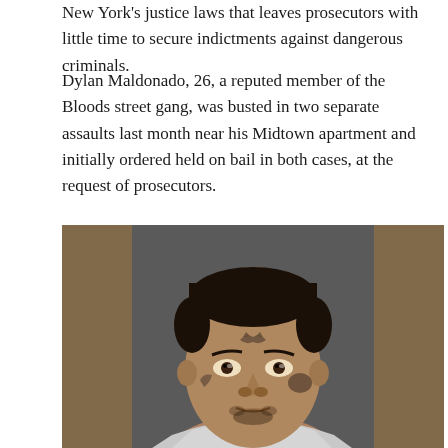New York's justice laws that leaves prosecutors with little time to secure indictments against dangerous criminals.
Dylan Maldonado, 26, a reputed member of the Bloods street gang, was busted in two separate assaults last month near his Midtown apartment and initially ordered held on bail in both cases, at the request of prosecutors.
[Figure (photo): Mugshot/booking photo of Dylan Maldonado, a young man with face tattoos wearing a gray sleeveless shirt, photographed against a dark gray background.]